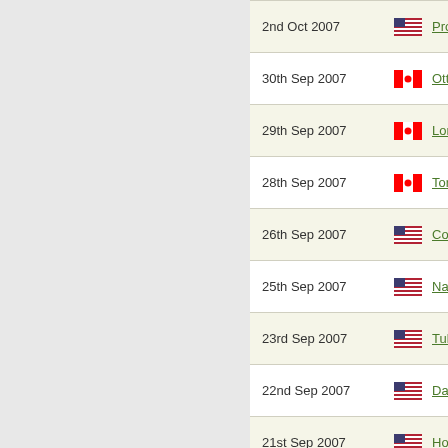| Date | Flag | City |
| --- | --- | --- |
| 2nd Oct 2007 | US | Provider, |
| 30th Sep 2007 | Canada | Ottawa, |
| 29th Sep 2007 | Canada | London, |
| 28th Sep 2007 | Canada | Toronto, |
| 26th Sep 2007 | US | Covington, |
| 25th Sep 2007 | US | Nashville, |
| 23rd Sep 2007 | US | Tulsa, O |
| 22nd Sep 2007 | US | Dallas, T |
| 21st Sep 2007 | US | Houston, |
| 19th Sep 2007 | Mexico | Mexico C |
| 16th Sep 2007 | US | Austin, |